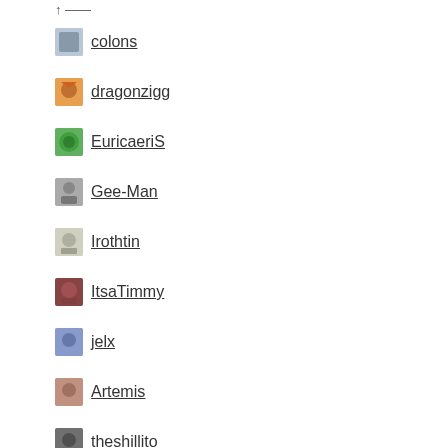colons
dragonzigg
EuricaeriS
Gee-Man
Irothtin
ItsaTimmy
jelx
Artemis
theshillito
RSS Ahoy!
RSS - Posts
RSS - Comments
Follow Us